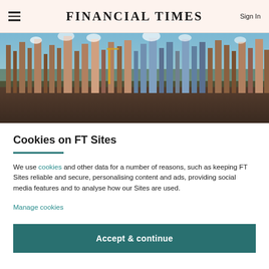FINANCIAL TIMES | Sign In
[Figure (photo): Aerial view of an oil refinery with towers, pipes, and industrial structures emitting steam, photographed at dusk/dawn with warm orange lighting.]
Cookies on FT Sites
We use cookies and other data for a number of reasons, such as keeping FT Sites reliable and secure, personalising content and ads, providing social media features and to analyse how our Sites are used.
Manage cookies
Accept & continue